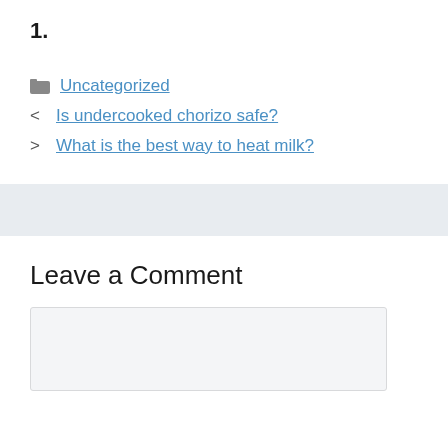1.
Uncategorized
< Is undercooked chorizo safe?
> What is the best way to heat milk?
Leave a Comment